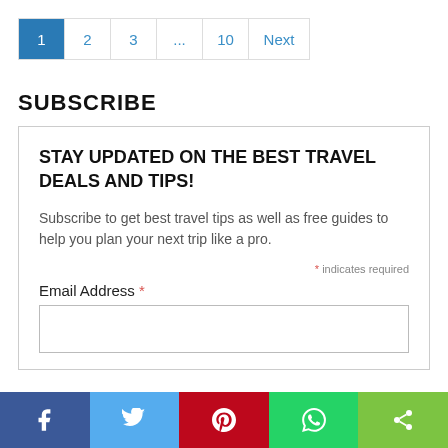1  2  3  ...  10  Next
SUBSCRIBE
STAY UPDATED ON THE BEST TRAVEL DEALS AND TIPS!
Subscribe to get best travel tips as well as free guides to help you plan your next trip like a pro.
* indicates required
Email Address *
[Figure (other): Social media share buttons bar: Facebook (blue), Twitter (light blue), Pinterest (red), WhatsApp (green), Share (lime green)]